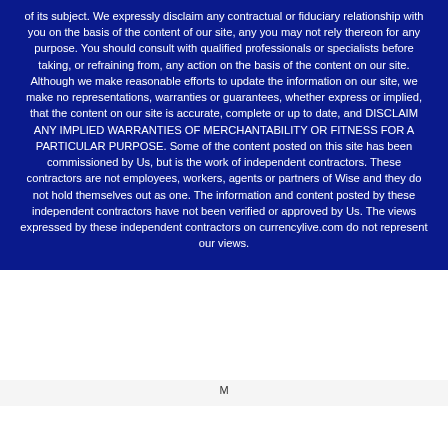of its subject. We expressly disclaim any contractual or fiduciary relationship with you on the basis of the content of our site, any you may not rely thereon for any purpose. You should consult with qualified professionals or specialists before taking, or refraining from, any action on the basis of the content on our site. Although we make reasonable efforts to update the information on our site, we make no representations, warranties or guarantees, whether express or implied, that the content on our site is accurate, complete or up to date, and DISCLAIM ANY IMPLIED WARRANTIES OF MERCHANTABILITY OR FITNESS FOR A PARTICULAR PURPOSE. Some of the content posted on this site has been commissioned by Us, but is the work of independent contractors. These contractors are not employees, workers, agents or partners of Wise and they do not hold themselves out as one. The information and content posted by these independent contractors have not been verified or approved by Us. The views expressed by these independent contractors on currencylive.com do not represent our views.
M